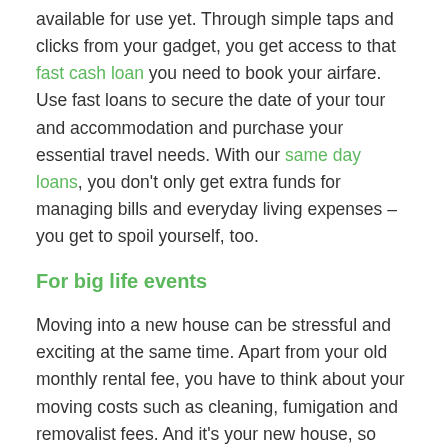available for use yet. Through simple taps and clicks from your gadget, you get access to that fast cash loan you need to book your airfare. Use fast loans to secure the date of your tour and accommodation and purchase your essential travel needs. With our same day loans, you don't only get extra funds for managing bills and everyday living expenses – you get to spoil yourself, too.
For big life events
Moving into a new house can be stressful and exciting at the same time. Apart from your old monthly rental fee, you have to think about your moving costs such as cleaning, fumigation and removalist fees. And it's your new house, so you're